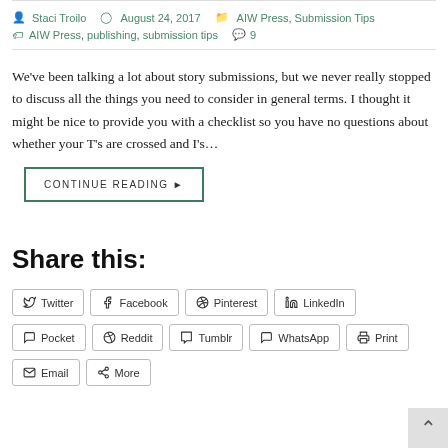Staci Troilo  August 24, 2017  AIW Press, Submission Tips  AIW Press, publishing, submission tips  9
We've been talking a lot about story submissions, but we never really stopped to discuss all the things you need to consider in general terms. I thought it might be nice to provide you with a checklist so you have no questions about whether your T's are crossed and I's…
CONTINUE READING ▶
Share this:
Twitter  Facebook  Pinterest  LinkedIn  Pocket  Reddit  Tumblr  WhatsApp  Print  Email  More